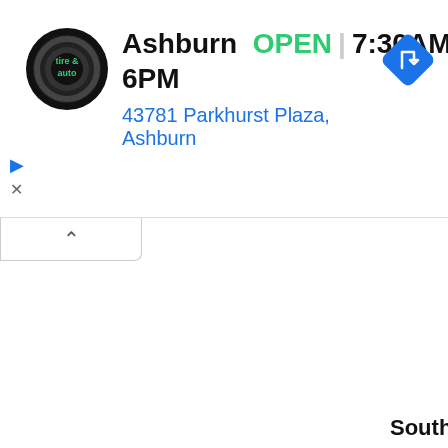[Figure (screenshot): Ad banner for Virginia Tire & Auto showing Ashburn location, OPEN 7:30AM-6PM, address 43781 Parkhurst Plaza Ashburn, with navigation icon]
Sanborn Weekly Journal -- Woonsocket
The Wilmot Enterprise -- Wilmot
Woonsocket New -- Woonsocket
South+Dakota
The Minnehaha Messenger -- Humboldt